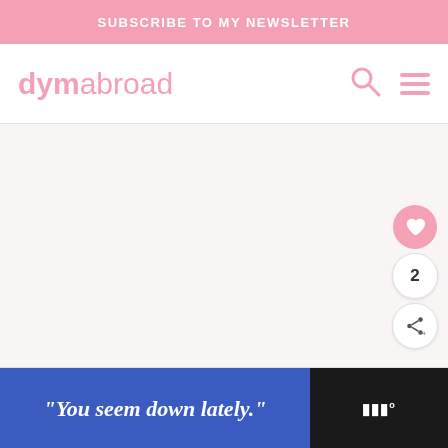SUBSCRIBE TO MY NEWSLETTER
dymabroad
[Figure (screenshot): Website screenshot showing the dymabroad blog header with pink navigation bar containing search and menu icons, a large white/light pink content area, floating action buttons (heart/like button showing 2 likes, and share button) on the right side, and an advertisement banner at the bottom reading 'You seem down lately.']
"You seem down lately."